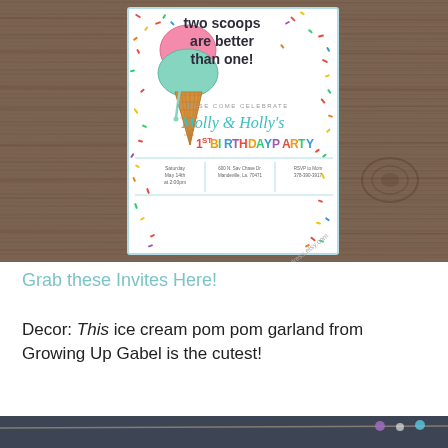[Figure (photo): Birthday party invitation card for twins Molly & Holly's 1st birthday party, ice cream theme with two scoops cone, on wooden table background. Text reads 'two scoops are better than one!' with colorful sprinkle border. Watermark: rockstardress.etsy.com]
Grab these Invites Here!
Decor: This ice cream pom pom garland from Growing Up Gabel is the cutest!
[Figure (photo): Bottom portion of an image showing what appears to be a garland or decorative string with colorful pom poms against a dark background]